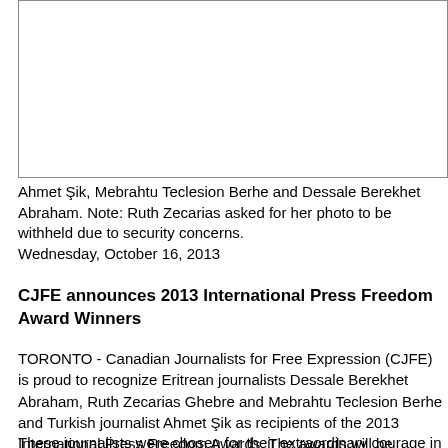[Figure (photo): Photograph placeholder — cropped photo of award recipients including Ahmet Şik, Mebrahtu Teclesion Berhe and Dessale Berekhet Abraham.]
Ahmet Şik, Mebrahtu Teclesion Berhe and Dessale Berekhet Abraham. Note: Ruth Zecarias asked for her photo to be withheld due to security concerns.
Wednesday, October 16, 2013
CJFE announces 2013 International Press Freedom Award Winners
TORONTO - Canadian Journalists for Free Expression (CJFE) is proud to recognize Eritrean journalists Dessale Berekhet Abraham, Ruth Zecarias Ghebre and Mebrahtu Teclesion Berhe and Turkish journalist Ahmet Şik as recipients of the 2013 International Press Freedom Awards. The awards will be presented at the 16th annual CJFE Gala, to be held December 4 at the Fairmont Royal York Hotel in Toronto.
These journalists were chosen for their extraordinary courage in